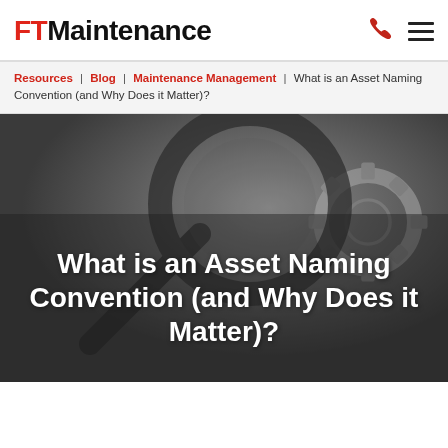FT Maintenance
Resources | Blog | Maintenance Management | What is an Asset Naming Convention (and Why Does it Matter)?
[Figure (photo): Dark grey background image showing a magnifying glass over a gear/cog wheel, used as hero banner behind the article title.]
What is an Asset Naming Convention (and Why Does it Matter)?